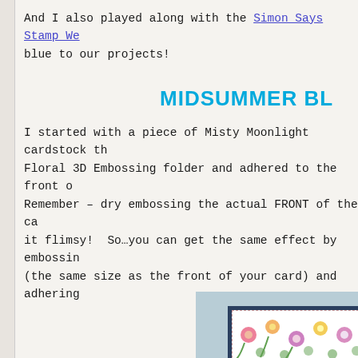And I also played along with the Simon Says Stamp We... blue to our projects!
MIDSUMMER BL...
I started with a piece of Misty Moonlight cardstock th... Floral 3D Embossing folder and adhered to the front o... Remember – dry embossing the actual FRONT of the car... it flimsy! So…you can get the same effect by embossin... (the same size as the front of your card) and adhering...
[Figure (photo): Photo showing a handmade greeting card with floral patterned paper, navy blue mat, and white card base with green flower stampings. Card displayed on a blue-grey surface.]